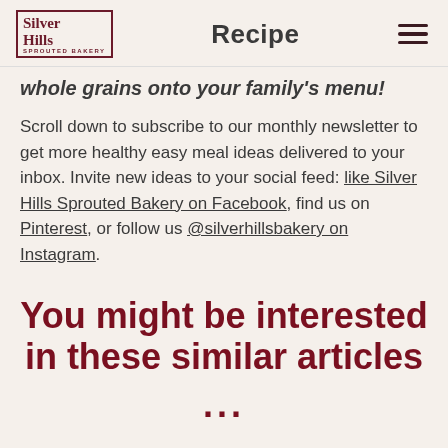Silver Hills Sprouted Bakery — Recipe
whole grains onto your family's menu!
Scroll down to subscribe to our monthly newsletter to get more healthy easy meal ideas delivered to your inbox. Invite new ideas to your social feed: like Silver Hills Sprouted Bakery on Facebook, find us on Pinterest, or follow us @silverhillsbakery on Instagram.
You might be interested in these similar articles ...